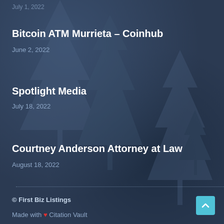July 1, 2022
Bitcoin ATM Murrieta – Coinhub
June 2, 2022
Spotlight Media
July 18, 2022
Courtney Anderson Attorney at Law
August 18, 2022
© First Biz Listings
Made with ❤ Citation Vault